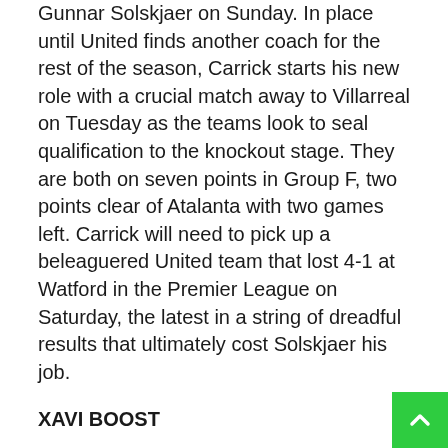Gunnar Solskjaer on Sunday. In place until United finds another coach for the rest of the season, Carrick starts his new role with a crucial match away to Villarreal on Tuesday as the teams look to seal qualification to the knockout stage. They are both on seven points in Group F, two points clear of Atalanta with two games left. Carrick will need to pick up a beleaguered United team that lost 4-1 at Watford in the Premier League on Saturday, the latest in a string of dreadful results that ultimately cost Solskjaer his job.
XAVI BOOST
Barcelona enters its crucial home match in Group E against Benfica on Tuesday boosted by the arrival of former great Xavi Hernández as its new coach. It will be his second match in charge after a league win in the Barcelona derby against Espanyol on Saturday, a result that ended a four-game winless streak in the league. The Catalan club started its Champions League